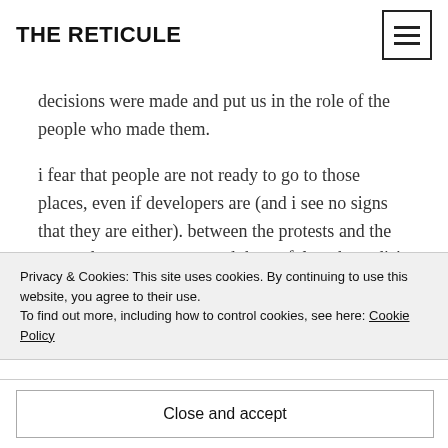THE RETICULE
decisions were made and put us in the role of the people who made them.
i fear that people are not ready to go to those places, even if developers are (and i see no signs that they are either). between the protests and the enraged parents groups and the awful trash-media's gleeful coverage of how the game lets you operate little pixel(for example) dachau's – i suspect
Privacy & Cookies: This site uses cookies. By continuing to use this website, you agree to their use. To find out more, including how to control cookies, see here: Cookie Policy
Close and accept
gods i sound like a pessimist.